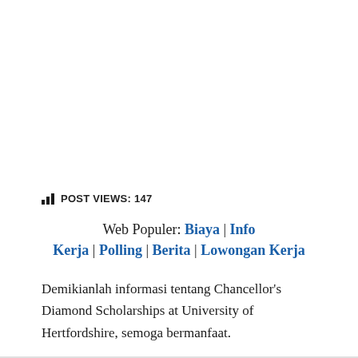POST VIEWS: 147
Web Populer: Biaya | Info Kerja | Polling | Berita | Lowongan Kerja
Demikianlah informasi tentang Chancellor’s Diamond Scholarships at University of Hertfordshire, semoga bermanfaat.